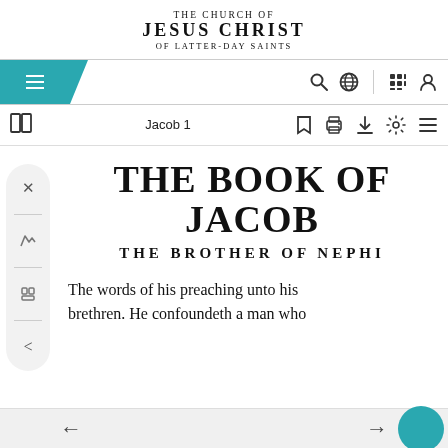THE CHURCH OF JESUS CHRIST OF LATTER-DAY SAINTS
[Figure (screenshot): Navigation bar with teal hamburger menu, search icon, globe icon, grid icon, and user icon]
[Figure (screenshot): Toolbar with book icon, Jacob 1 label, bookmark, print, download, settings, and list icons]
THE BOOK OF JACOB
THE BROTHER OF NEPHI
The words of his preaching unto his brethren. He confoundeth a man who
[Figure (screenshot): Bottom navigation bar with left and right arrow buttons and teal circle button]